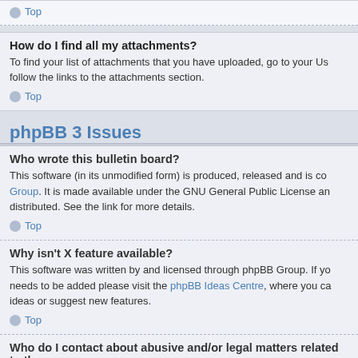Top
How do I find all my attachments?
To find your list of attachments that you have uploaded, go to your Us follow the links to the attachments section.
Top
phpBB 3 Issues
Who wrote this bulletin board?
This software (in its unmodified form) is produced, released and is co Group. It is made available under the GNU General Public License an distributed. See the link for more details.
Top
Why isn't X feature available?
This software was written by and licensed through phpBB Group. If yo needs to be added please visit the phpBB Ideas Centre, where you ca ideas or suggest new features.
Top
Who do I contact about abusive and/or legal matters related to th
Any of the administrators listed on the "The team" page should be an